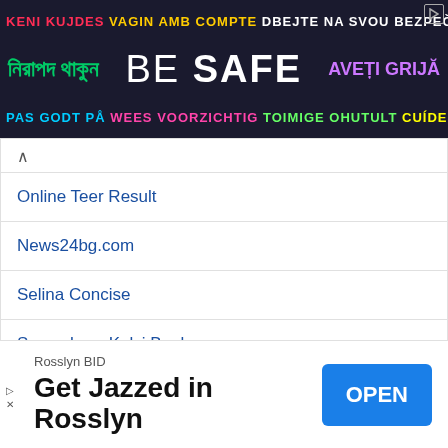[Figure (infographic): Multilingual safety banner ad with dark background. Top row: 'KENI KUJDES VAGIN AMB COMPTE DBEJTE NA SVOU BEZPECNOS'. Middle row: Bengali text, 'BE SAFE', 'AVETI GRIJA'. Bottom row: 'PAS GODT PA WEES VOORZICHTIG TOIMIGE OHUTULT CUIDESE'.]
Online Teer Result
News24bg.com
Selina Concise
Samacheer Kalvi Books
Padasalai
Biovision Blog
Samacheer Kalvi Books
Padasalai
Selina Concise
[Figure (infographic): Bottom ad: Rosslyn BID sponsor. Text: 'Get Jazzed in Rosslyn'. Blue OPEN button on the right.]